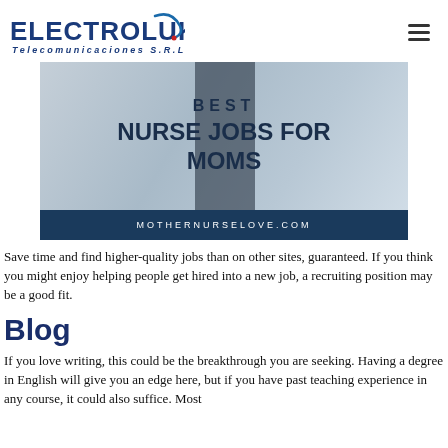ELECTROLUKA Telecomunicaciones S.R.L
[Figure (photo): Blog post hero image with text overlay reading 'BEST NURSE JOBS FOR MOMS' and website URL 'MOTHERNURSELOVE.COM' on a dark teal banner at the bottom.]
Save time and find higher-quality jobs than on other sites, guaranteed. If you think you might enjoy helping people get hired into a new job, a recruiting position may be a good fit.
Blog
If you love writing, this could be the breakthrough you are seeking. Having a degree in English will give you an edge here, but if you have past teaching experience in any course, it could also suffice. Most